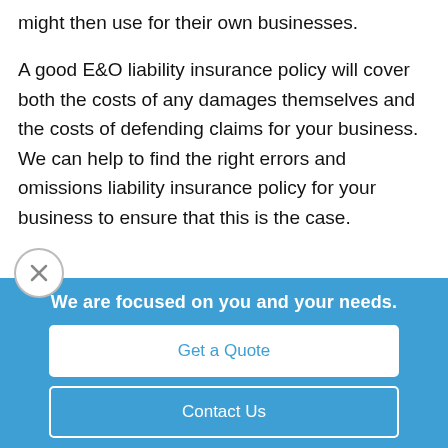might then use for their own businesses.
A good E&O liability insurance policy will cover both the costs of any damages themselves and the costs of defending claims for your business. We can help to find the right errors and omissions liability insurance policy for your business to ensure that this is the case.
We are focused on you and your needs.
Get a Quote
Contact Us